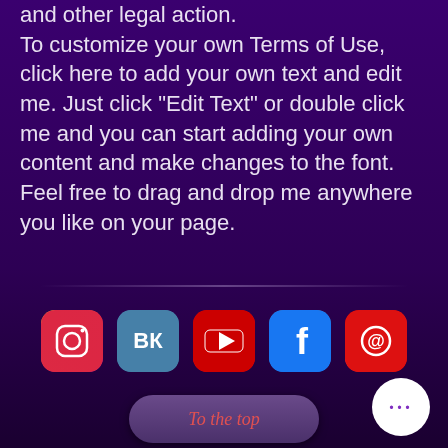and other legal action. To customize your own Terms of Use, click here to add your own text and edit me. Just click "Edit Text" or double click me and you can start adding your own content and make changes to the font. Feel free to drag and drop me anywhere you like on your page.
[Figure (infographic): Row of 5 social media icon buttons: Instagram, VK, YouTube, Facebook, Email]
[Figure (other): Purple rounded button with red italic text reading 'To the top']
[Figure (other): White circular button with three purple dots (more options)]